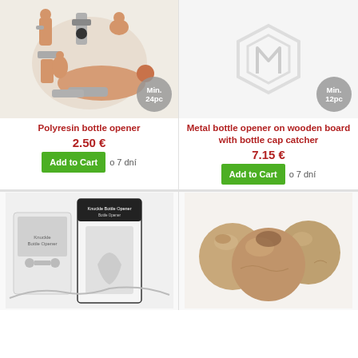[Figure (photo): Multiple polyresin nude figure bottle openers displayed together]
[Figure (photo): Metal bottle opener on wooden board with bottle cap catcher - Magento placeholder image shown]
Polyresin bottle opener
2.50 €
Add to Cart
o 7 dní
Metal bottle opener on wooden board with bottle cap catcher
7.15 €
Add to Cart
o 7 dní
[Figure (photo): Knuckle bones bottle opener product in packaging]
[Figure (photo): Wooden balls product]